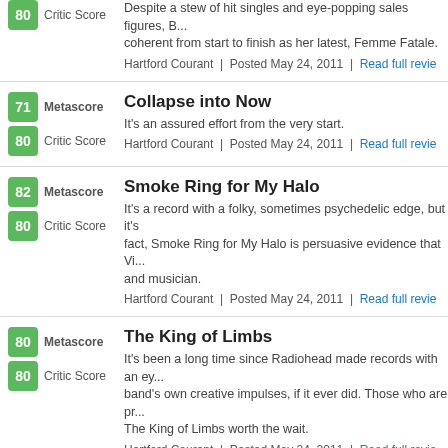80 Metascore / 80 Critic Score — (partial top entry) Despite a stew of hit singles and eye-popping sales figures, B... coherent from start to finish as her latest, Femme Fatale. Hartford Courant | Posted May 24, 2011 | Read full review
71 Metascore / 80 Critic Score — Collapse into Now. It's an assured effort from the very start. Hartford Courant | Posted May 24, 2011 | Read full review
82 Metascore / 80 Critic Score — Smoke Ring for My Halo. It's a record with a folky, sometimes psychedelic edge, but it's fact, Smoke Ring for My Halo is persuasive evidence that Vi... and musician. Hartford Courant | Posted May 24, 2011 | Read full review
80 Metascore / 80 Critic Score — The King of Limbs. It's been a long time since Radiohead made records with an ey... band's own creative impulses, if it ever did. Those who are pr... The King of Limbs worth the wait. Hartford Courant | Posted May 24, 2011 | Read full review
66 Metascore / 70 Critic Score — The Party Ain't Over. At its core, The Party Ain't Over is a strong testament to Jacks... how best to deploy it. Even though Jackson was never actually... Hartford Courant | Posted May 24, 2011 | Read full review